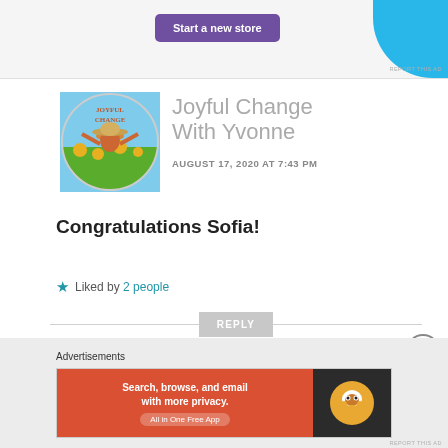[Figure (other): Advertisement banner with purple 'Start a new store' button and blue curved shape on the right]
[Figure (illustration): Circular profile avatar for 'Joyful Change' showing a sunflower field scene with a person in a hat and the text JOYFUL CHANGE]
Joyful Change With Yvonne
AUGUST 17, 2020 AT 7:43 PM
Congratulations Sofia!
Liked by 2 people
REPLY
Advertisements
[Figure (screenshot): DuckDuckGo advertisement: 'Search, browse, and email with more privacy. All in One Free App' with DuckDuckGo logo]